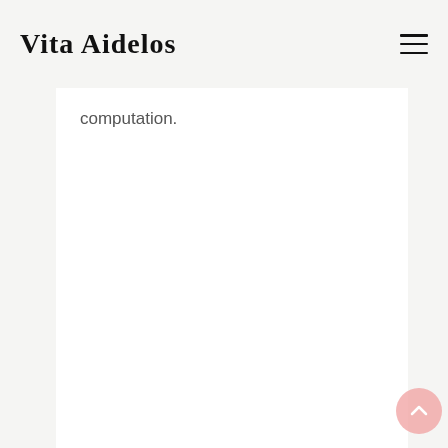Vita Aidelos
computation.
[Figure (other): Back-to-top button: pink circular button with upward chevron arrow]